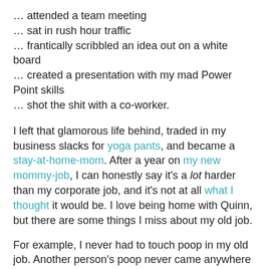… attended a team meeting
… sat in rush hour traffic
… frantically scribbled an idea out on a white board
… created a presentation with my mad Power Point skills
… shot the shit with a co-worker.
I left that glamorous life behind, traded in my business slacks for yoga pants, and became a stay-at-home-mom. After a year on my new mommy-job, I can honestly say it's a lot harder than my corporate job, and it's not at all what I thought it would be. I love being home with Quinn, but there are some things I miss about my old job.
For example, I never had to touch poop in my old job. Another person's poop never came anywhere near me. Ever. Not even on accident.
I was also able to go to the bathroom without someone standing outside the door and crying. A few times, someone would try to have a conversation with me, mid-stream, from the next stall, which was weird and a little distracting, but that didn't happen very often.